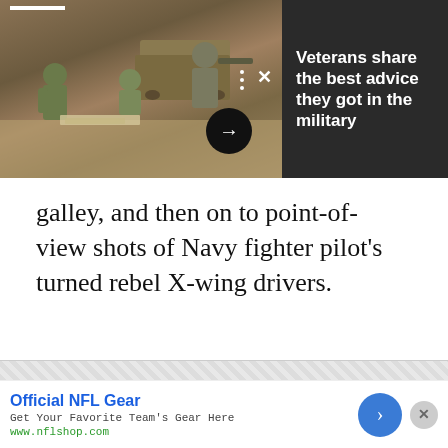[Figure (photo): Military soldiers in camouflage uniforms crouching in a desert terrain, examining maps on the ground, with military vehicles in the background]
Veterans share the best advice they got in the military
galley, and then on to point-of-view shots of Navy fighter pilot's turned rebel X-wing drivers.
[Figure (infographic): Advertisement: Official NFL Gear - Get Your Favorite Team's Gear Here - www.nflshop.com]